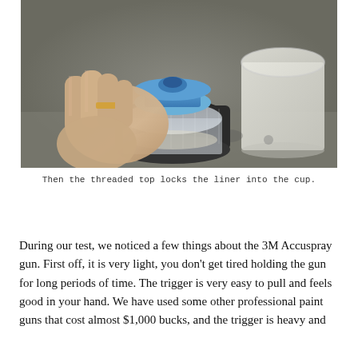[Figure (photo): A hand holding and assembling a threaded top lid onto a clear plastic paint spray gun cup/liner system on a workbench. A white plastic bucket is visible in the background.]
Then the threaded top locks the liner into the cup.
During our test, we noticed a few things about the 3M Accuspray gun. First off, it is very light, you don't get tired holding the gun for long periods of time. The trigger is very easy to pull and feels good in your hand. We have used some other professional paint guns that cost almost $1,000 bucks, and the trigger is heavy and